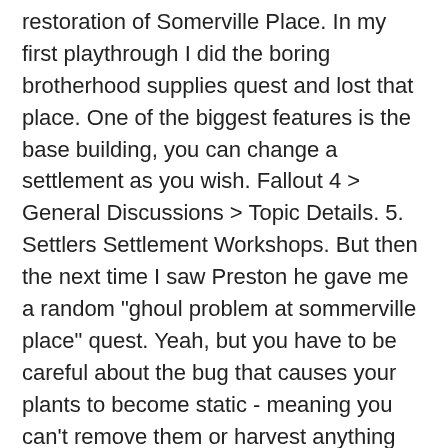restoration of Somerville Place. In my first playthrough I did the boring brotherhood supplies quest and lost that place. One of the biggest features is the base building, you can change a settlement as you wish. Fallout 4 > General Discussions > Topic Details. 5. Settlers Settlement Workshops. But then the next time I saw Preston he gave me a random "ghoul problem at sommerville place" quest. Yeah, but you have to be careful about the bug that causes your plants to become static - meaning you can't remove them or harvest anything from them. Close. Need help unlocking Somerville Place! Well, I've cleared the place, killed every super mutant, hound and radroach there and in the vicinity (the station and the dinner on the balcony), but the quest doesn't update. Fallout 4. Here's 7 quest-related bugs in Fallout 4 as well as some solutions. Juni 2016; Thema ignorieren; Gobi22. Hey Nexus, weird bug